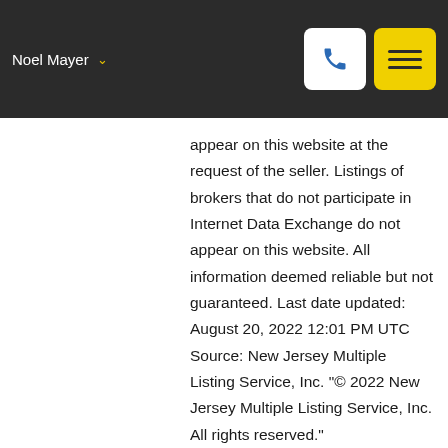Noel Mayer
appear on this website at the request of the seller. Listings of brokers that do not participate in Internet Data Exchange do not appear on this website. All information deemed reliable but not guaranteed. Last date updated: August 20, 2022 12:01 PM UTC Source: New Jersey Multiple Listing Service, Inc. "© 2022 New Jersey Multiple Listing Service, Inc. All rights reserved."